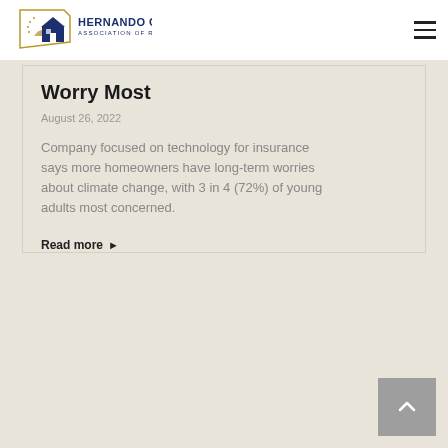Hernando County Association of Realtors
Worry Most
August 26, 2022
Company focused on technology for insurance says more homeowners have long-term worries about climate change, with 3 in 4 (72%) of young adults most concerned.
Read more ▶